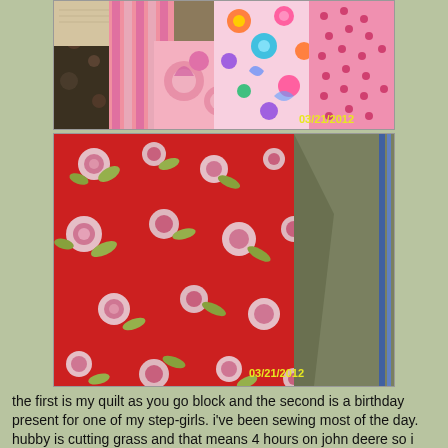[Figure (photo): Close-up photograph of colorful quilt fabrics including pink stripes, floral prints, polka dots, and patterned pieces arranged together. Date stamp 03/21/2012 in yellow.]
[Figure (photo): Close-up photograph of red floral fabric with roses and a gray/olive colored fabric piece beside it. Date stamp 03/21/2012 in yellow.]
the first is my quilt as you go block and the second is a birthday present for one of my step-girls.  i've been  sewing most of the day. hubby is cutting grass and that means 4 hours on john deere so i have time to do my sewing.    this pollen is killing both of us and i hope it goes away soon but of course it wont.  i am trying to do birthday presents for 2